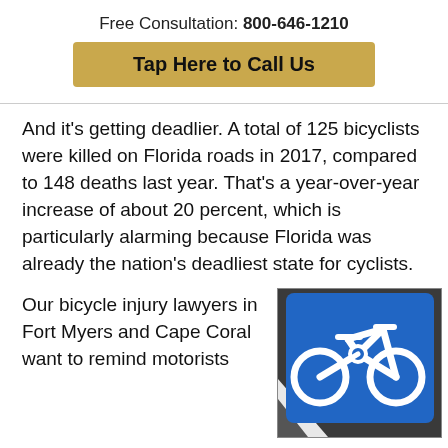Free Consultation: 800-646-1210
Tap Here to Call Us
And it’s getting deadlier. A total of 125 bicyclists were killed on Florida roads in 2017, compared to 148 deaths last year. That’s a year-over-year increase of about 20 percent, which is particularly alarming because Florida was already the nation’s deadliest state for cyclists.
Our bicycle injury lawyers in Fort Myers and Cape Coral want to remind motorists
[Figure (photo): Blue rectangular road sign with white bicycle icon, mounted on a pole, indicating a bicycle route or bike lane.]